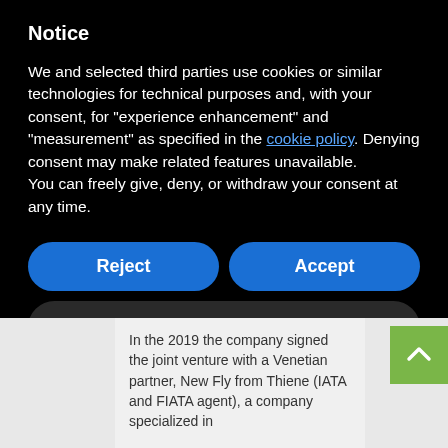Notice
We and selected third parties use cookies or similar technologies for technical purposes and, with your consent, for “experience enhancement” and “measurement” as specified in the cookie policy. Denying consent may make related features unavailable.
You can freely give, deny, or withdraw your consent at any time.
Reject
Accept
Learn more and customize
In the 2019 the company signed the joint venture with a Venetian partner, New Fly from Thiene (IATA and FIATA agent), a company specialized in